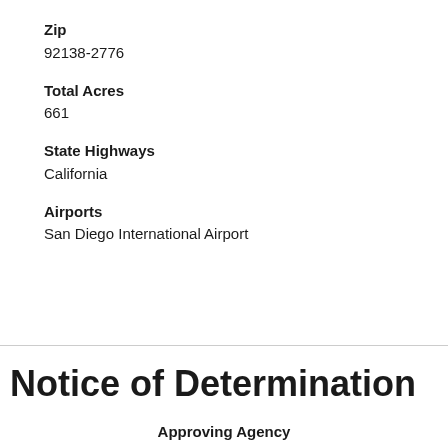Zip
92138-2776
Total Acres
661
State Highways
California
Airports
San Diego International Airport
Notice of Determination
Approving Agency